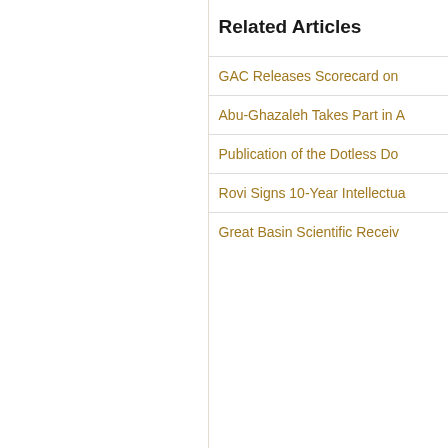Related Articles
GAC Releases Scorecard on
Abu-Ghazaleh Takes Part in A
Publication of the Dotless Do
Rovi Signs 10-Year Intellectua
Great Basin Scientific Receiv
Terms of Use | Privacy Policy | Disclaimer
AG-IP-NEWS a member of Talal Abu-Ghazaleh Global
Copyright © 2022 ag-ip-news All Rights Reserved
Powered By: Talal Abu-Ghazaleh Global
67,531
12,141